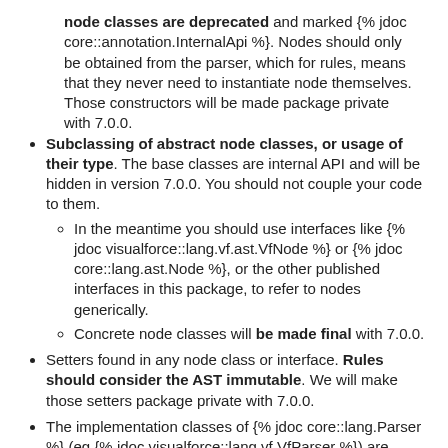node classes are deprecated and marked {% jdoc core::annotation.InternalApi %}. Nodes should only be obtained from the parser, which for rules, means that they never need to instantiate node themselves. Those constructors will be made package private with 7.0.0.
Subclassing of abstract node classes, or usage of their type. The base classes are internal API and will be hidden in version 7.0.0. You should not couple your code to them.
In the meantime you should use interfaces like {% jdoc visualforce::lang.vf.ast.VfNode %} or {% jdoc core::lang.ast.Node %}, or the other published interfaces in this package, to refer to nodes generically.
Concrete node classes will be made final with 7.0.0.
Setters found in any node class or interface. Rules should consider the AST immutable. We will make those setters package private with 7.0.0.
The implementation classes of {% jdoc core::lang.Parser %} (eg {% jdoc visualforce::lang.vf.VfParser %}) are deprecated and should not be used directly. Use {% jdoc !!core::lang.LanguageVersionHandler#getParser(Parse %} instead.